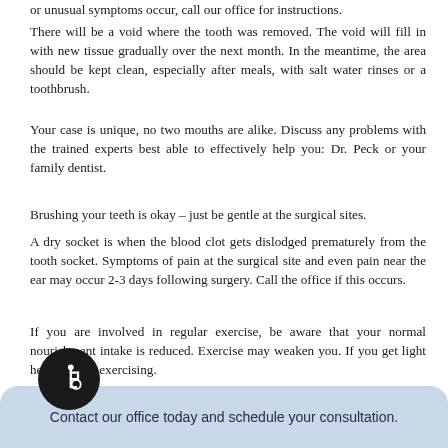or unusual symptoms occur, call our office for instructions.
There will be a void where the tooth was removed. The void will fill in with new tissue gradually over the next month. In the meantime, the area should be kept clean, especially after meals, with salt water rinses or a toothbrush.
Your case is unique, no two mouths are alike. Discuss any problems with the trained experts best able to effectively help you: Dr. Peck or your family dentist.
Brushing your teeth is okay – just be gentle at the surgical sites.
A dry socket is when the blood clot gets dislodged prematurely from the tooth socket. Symptoms of pain at the surgical site and even pain near the ear may occur 2-3 days following surgery. Call the office if this occurs.
If you are involved in regular exercise, be aware that your normal nourishment intake is reduced. Exercise may weaken you. If you get light headed, stop exercising.
[Figure (illustration): Wheelchair accessibility icon in a dark circular badge]
Contact our office today and schedule your consultation.